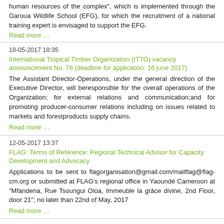human resources of the complex", which is implemented through the Garoua Wildlife School (EFG), for which the recruitment of a national training expert is envisaged to support the EFG.
Read more …
18-05-2017 18:35
International Tropical Timber Organization (ITTO) vacancy announcement No. 78 (deadline for application: 16 june 2017)
The Assistant Director-Operations, under the general direction of the Executive Director, will beresponsible for the overall operations of the Organization; for external relations and communication;and for promoting producer-consumer relations including on issues related to markets and forestproducts supply chains.
Read more …
12-05-2017 13:37
FLAG: Terms of Reference: Regional Technical Advisor for Capacity Development and Advocacy
Applications to be sent to flagorganisation@gmail.com/mailflag@flag-cm.org or submitted at FLAG's regional office in Yaoundé Cameroon at "Mfandena, Rue Tsoungui Oloa, Immeuble la grâce divine, 2nd Floor, door 21"; no later than 22nd of May, 2017
Read more …
05-05-2017 09:08
RIFFEAC: Closing applications for REDD+ scholarships
The RIFFEAC Regional Coordinator has declared closed the period for submission of applications for REDD+ scholarships.
Read more …